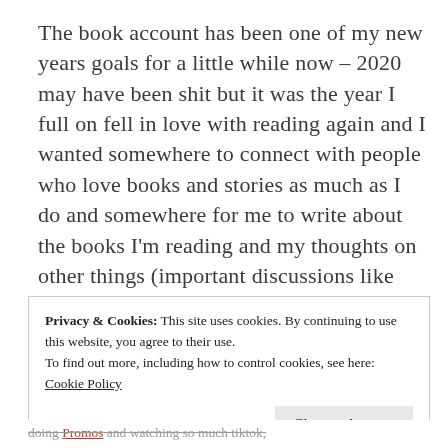The book account has been one of my new years goals for a little while now – 2020 may have been shit but it was the year I full on fell in love with reading again and I wanted somewhere to connect with people who love books and stories as much as I do and somewhere for me to write about the books I'm reading and my thoughts on other things (important discussions like hardback vs paperback and whether the spine of a book should be cracked).
Privacy & Cookies: This site uses cookies. By continuing to use this website, you agree to their use.
To find out more, including how to control cookies, see here: Cookie Policy
doing Promos and watching so much tiktok,